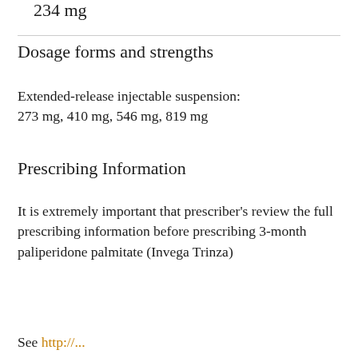234 mg
Dosage forms and strengths
Extended-release injectable suspension: 273 mg, 410 mg, 546 mg, 819 mg
Prescribing Information
It is extremely important that prescriber's review the full prescribing information before prescribing 3-month paliperidone palmitate (Invega Trinza)
See http://…